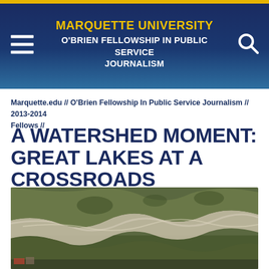MARQUETTE UNIVERSITY
O'BRIEN FELLOWSHIP IN PUBLIC SERVICE JOURNALISM
Marquette.edu // O'Brien Fellowship In Public Service Journalism // 2013-2014 Fellows //
A WATERSHED MOMENT: GREAT LAKES AT A CROSSROADS
[Figure (photo): Aerial photograph of a river or wetland watershed area showing green fields with meandering waterway and sediment patterns visible from above]